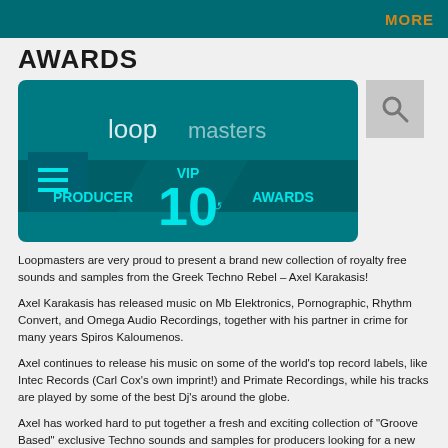MORE
AWARDS
[Figure (screenshot): Loopmasters VIP 10 Producer Awards banner with teal background, Loopmasters logo, hamburger menu icon, and text 'PRODUCER', 'VIP 10', 'AWARDS']
Loopmasters are very proud to present a brand new collection of royalty free sounds and samples from the Greek Techno Rebel – Axel Karakasis!
Axel Karakasis has released music on Mb Elektronics, Pornographic, Rhythm Convert, and Omega Audio Recordings, together with his partner in crime for many years Spiros Kaloumenos.
Axel continues to release his music on some of the world's top record labels, like Intec Records (Carl Cox's own imprint!) and Primate Recordings, while his tracks are played by some of the best Dj's around the globe.
Axel has worked hard to put together a fresh and exciting collection of "Groove Based" exclusive Techno sounds and samples for producers looking for a new sound to inject inspiration into their productions.